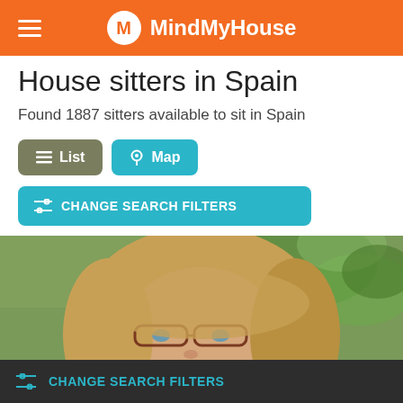MindMyHouse
House sitters in Spain
Found 1887 sitters available to sit in Spain
[Figure (screenshot): List and Map toggle buttons, and Change Search Filters button on a house-sitting search results page]
[Figure (photo): Close-up photo of a woman with blonde hair and glasses, outdoors with green foliage in background]
CHANGE SEARCH FILTERS